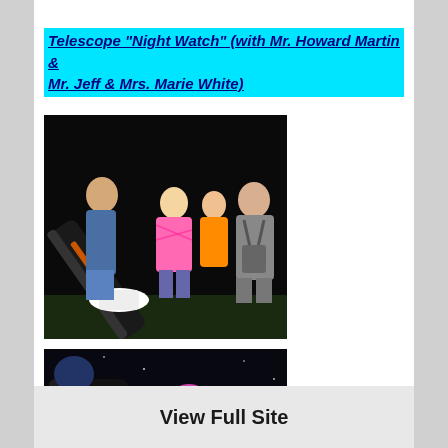Telescope "Night Watch" (with Mr. Howard Martin & Mr. Jeff & Mrs. Marie White)
[Figure (photo): Nighttime outdoor photo showing an adult helping children look through a large telescope. A child in a pink tie-dye shirt stands next to the telescope while another person looks through the eyepiece.]
[Figure (photo): Nighttime photo showing a child with glasses smiling next to a large telescope, with another person partially visible.]
View Full Site